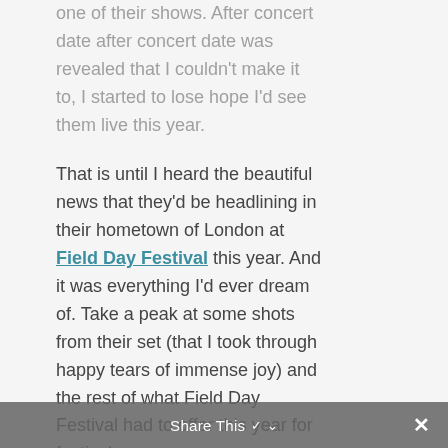one of their shows. After concert date after concert date was revealed that I couldn't make it to, I started to lose hope I'd see them live this year.
That is until I heard the beautiful news that they'd be headlining in their hometown of London at Field Day Festival this year. And it was everything I'd ever dream of. Take a peak at some shots from their set (that I took through happy tears of immense joy) and the rest of what Field Day Festival had to offer this year for festival
Share This ✓  ✕